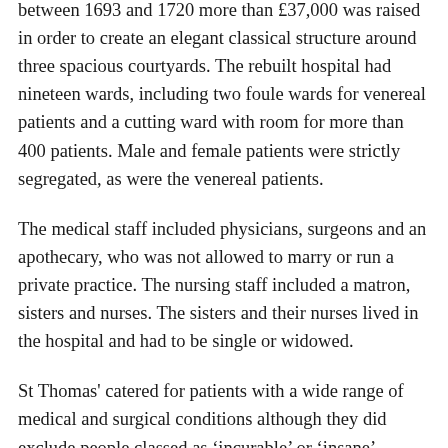between 1693 and 1720 more than £37,000 was raised in order to create an elegant classical structure around three spacious courtyards. The rebuilt hospital had nineteen wards, including two foule wards for venereal patients and a cutting ward with room for more than 400 patients. Male and female patients were strictly segregated, as were the venereal patients.
The medical staff included physicians, surgeons and an apothecary, who was not allowed to marry or run a private practice. The nursing staff included a matron, sisters and nurses. The sisters and their nurses lived in the hospital and had to be single or widowed.
St Thomas' catered for patients with a wide range of medical and surgical conditions although they did exclude people classed as 'incurable' or 'insane'. Patients were not